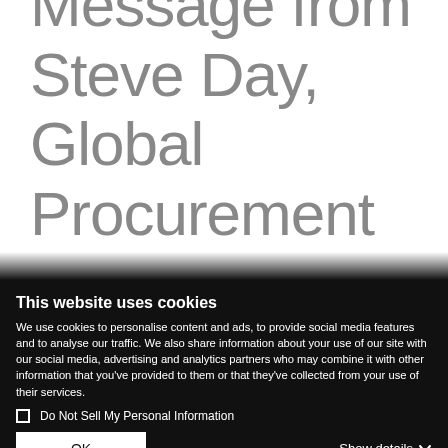Message from Steve Day, Global Procurement Officer
This website uses cookies
We use cookies to personalise content and ads, to provide social media features and to analyse our traffic. We also share information about your use of our site with our social media, advertising and analytics partners who may combine it with other information that you've provided to them or that they've collected from your use of their services.
Do Not Sell My Personal Information
OK
Show details